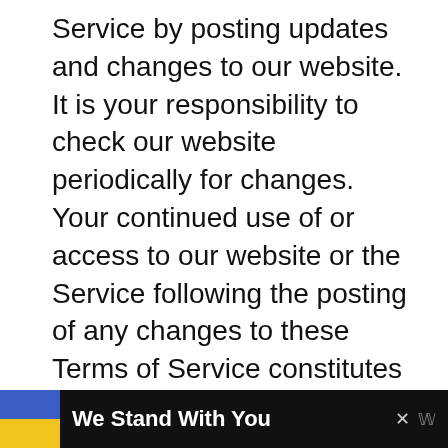Service by posting updates and changes to our website. It is your responsibility to check our website periodically for changes. Your continued use of or access to our website or the Service following the posting of any changes to these Terms of Service constitutes acceptance of those changes.
SECTION 20 – CONTACT INFORMATION
Questions about the Terms of
[Figure (other): Advertisement banner at the bottom: dark background with Ukrainian flag (blue and yellow), bold white text 'We Stand With You', close button X, and a logo icon on the right.]